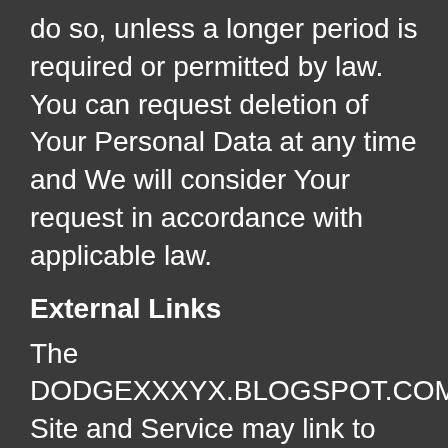do so, unless a longer period is required or permitted by law. You can request deletion of Your Personal Data at any time and We will consider Your request in accordance with applicable law.
External Links
The DODGEXXXYX.BLOGSPOT.COM Site and Service may link to other websites or services. Other websites may also contain links to the DODGEXXXYX.BLOGSPOT.COM Site or Service. DODGEXXXYX.BLOGSPOT.COM